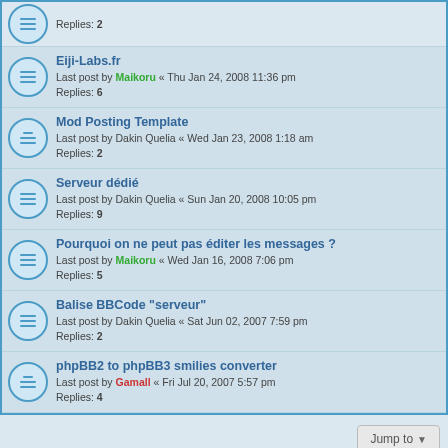Replies: 2
Eiji-Labs.fr
Last post by Maikoru « Thu Jan 24, 2008 11:36 pm
Replies: 6
Mod Posting Template
Last post by Dakin Quelia « Wed Jan 23, 2008 1:18 am
Replies: 2
Serveur dédié
Last post by Dakin Quelia « Sun Jan 20, 2008 10:05 pm
Replies: 9
Pourquoi on ne peut pas éditer les messages ?
Last post by Maikoru « Wed Jan 16, 2008 7:06 pm
Replies: 5
Balise BBCode "serveur"
Last post by Dakin Quelia « Sat Jun 02, 2007 7:59 pm
Replies: 2
phpBB2 to phpBB3 smilies converter
Last post by Gamall « Fri Jul 20, 2007 5:57 pm
Replies: 4
WHO IS ONLINE
Users browsing this forum: No registered users and 5 guests
Board index   All times are UTC+03:00
Powered by phpBB® Forum Software © phpBB Limited